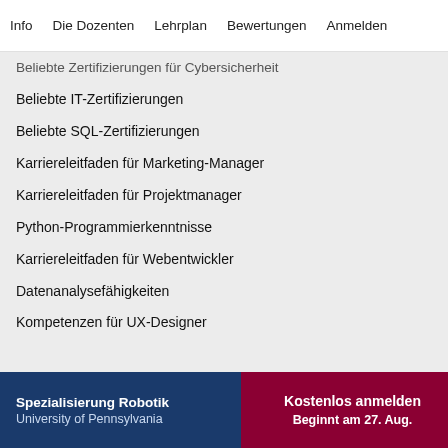Info   Die Dozenten   Lehrplan   Bewertungen   Anmelden
Beliebte Zertifizierungen für Cybersicherheit
Beliebte IT-Zertifizierungen
Beliebte SQL-Zertifizierungen
Karriereleitfaden für Marketing-Manager
Karriereleitfaden für Projektmanager
Python-Programmierkenntnisse
Karriereleitfaden für Webentwickler
Datenanalysefähigkeiten
Kompetenzen für UX-Designer
Spezialisierung Robotik
University of Pennsylvania
Kostenlos anmelden
Beginnt am 27. Aug.